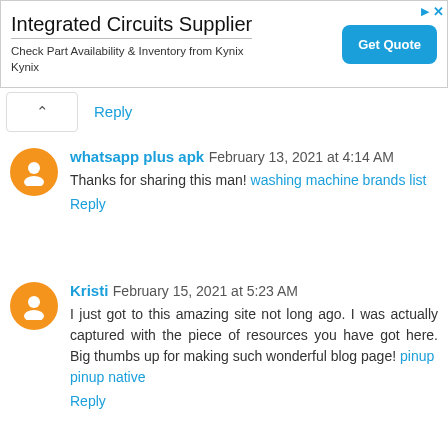[Figure (infographic): Advertisement banner for Integrated Circuits Supplier (Kynix). Title: 'Integrated Circuits Supplier'. Subtitle: 'Check Part Availability & Inventory from Kynix Kynix'. Blue 'Get Quote' button on right.]
Reply
whatsapp plus apk  February 13, 2021 at 4:14 AM
Thanks for sharing this man! washing machine brands list
Reply
Kristi  February 15, 2021 at 5:23 AM
I just got to this amazing site not long ago. I was actually captured with the piece of resources you have got here. Big thumbs up for making such wonderful blog page! pinup pinup native
Reply